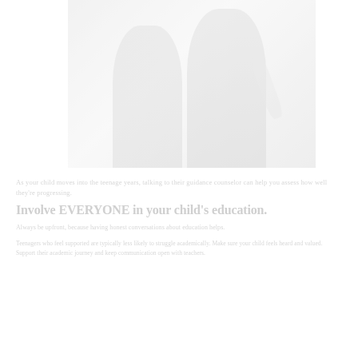[Figure (photo): Faded/watermark-style photograph of two people, possibly students or teacher and student, sitting together. The image is very light, appearing almost washed out against the white background.]
As your child moves into the teenage years, talking to their guidance counselor can help you assess how well they're progressing. Involve EVERYONE in your child's education. Always be upfront, because having honest conversations about education helps everyone.
Teenagers who feel supported are typically less likely to struggle academically. Make sure your child feels heard and valued. Support their academic journey and keep communication open with teachers.